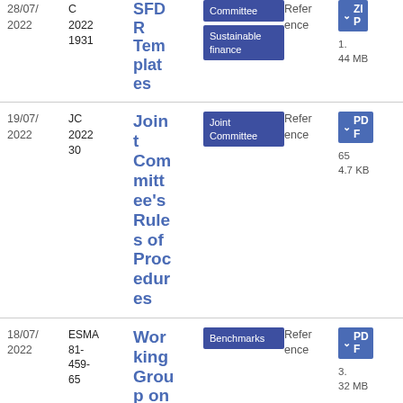| Date | Reference | Title | Tags | Type | Download |
| --- | --- | --- | --- | --- | --- |
| 28/07/2022 | C 2022 1931 | SFDR Templates | Committee
Sustainable finance | Reference | ZIP
1.44 MB |
| 19/07/2022 | JC 2022 30 | Joint Committee's Rules of Procedures | Joint Committee | Reference | PDF
65
4.7 KB |
| 18/07/2022 | ESMA 81-459-65 | Working Group on... | Benchmarks | Reference | PDF
3.32 MB |